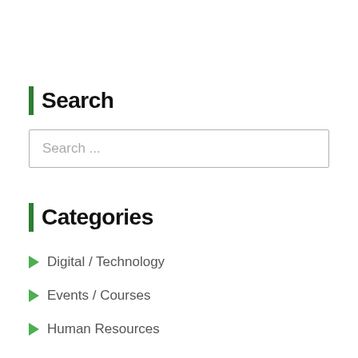Search
Search ...
Categories
Digital / Technology
Events / Courses
Human Resources